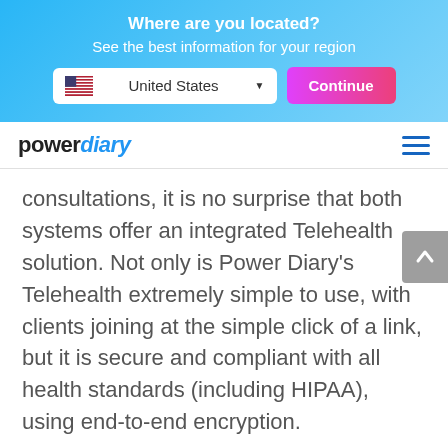[Figure (screenshot): Location banner with 'Where are you located?' heading, subtitle 'See the best information for your region', a dropdown showing United States with flag, and a pink Continue button]
[Figure (logo): Power Diary logo in black and blue italic text with hamburger menu icon]
consultations, it is no surprise that both systems offer an integrated Telehealth solution. Not only is Power Diary's Telehealth extremely simple to use, with clients joining at the simple click of a link, but it is secure and compliant with all health standards (including HIPAA), using end-to-end encryption.
Currently, both systems are offering